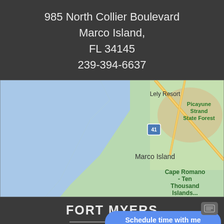985 North Collier Boulevard
Marco Island,
FL 34145
239-394-6637
[Figure (map): Google Maps view showing Marco Island, FL area with Lely Resort, Picayune Strand State Forest, Cape Romano - Ten Thousand Islands, and US Route 41 marked. Coastal area with blue water on the left and green land on the right.]
FORT MYERS
1537 Brantley Rd